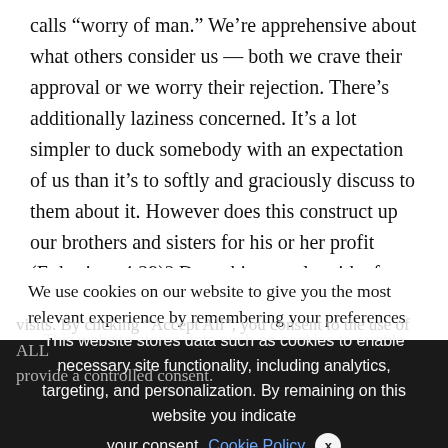calls “worry of man.” We’re apprehensive about what others consider us — both we crave their approval or we worry their rejection. There’s additionally laziness concerned. It’s a lot simpler to duck somebody with an expectation of us than it’s to softly and graciously discuss to them about it. However does this construct up our brothers and sisters for his or her profit (Ephesians 4:29)? Does this comply with after the Proverbs 31 mannequin to talk with knowledge and kindness? And
We use cookies on our website to give you the most relevant experience by remembering your preferences and repeat visits. By clicking “Accept All”, you consent to the use of ALL provide a controlled consent.
This website stores data such as cookies to enable necessary site functionality, including analytics, targeting, and personalization. By remaining on this website you indicate your consent Cookie Policy